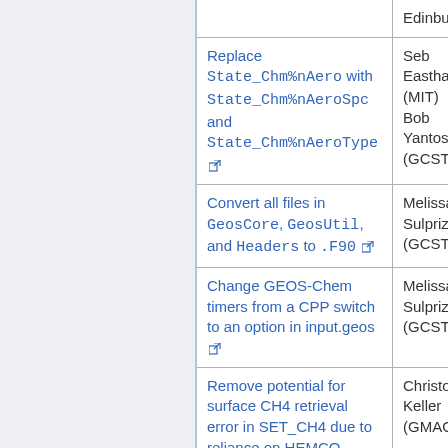| Description | Owner |
| --- | --- |
| Edinburgh) |  |
| Replace State_Chm%nAero with State_Chm%nAeroSpc and State_Chm%nAeroType [link] | Seb Eastham (MIT) Bob Yantosca (GCST) |
| Convert all files in GeosCore, GeosUtil, and Headers to .F90 [link] | Melissa Sulprizio (GCST) |
| Change GEOS-Chem timers from a CPP switch to an option in input.geos [link] | Melissa Sulprizio (GCST) |
| Remove potential for surface CH4 retrieval error in SET_CH4 due to reliance on HEMCO emissions year [link] | Christoph Keller (GMAO) |